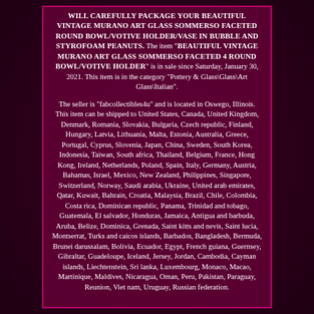WILL CAREFULLY PACKAGE YOUR BEAUTIFUL VINTAGE MURANO ART GLASS SOMMERSO FACETED ROUND BOWL/VOTIVE HOLDER/VASE IN BUBBLE AND STYROFOAM PEANUTS. The item "BEAUTIFUL VINTAGE MURANO ART GLASS SOMMERSO FACETED 4 ROUND BOWL/VOTIVE HOLDER" is in sale since Saturday, January 30, 2021. This item is in the category "Pottery & Glass\Glass\Art Glass\Italian".
The seller is "fabcollectibles4u" and is located in Oswego, Illinois. This item can be shipped to United States, Canada, United Kingdom, Denmark, Romania, Slovakia, Bulgaria, Czech republic, Finland, Hungary, Latvia, Lithuania, Malta, Estonia, Australia, Greece, Portugal, Cyprus, Slovenia, Japan, China, Sweden, South Korea, Indonesia, Taiwan, South africa, Thailand, Belgium, France, Hong Kong, Ireland, Netherlands, Poland, Spain, Italy, Germany, Austria, Bahamas, Israel, Mexico, New Zealand, Philippines, Singapore, Switzerland, Norway, Saudi arabia, Ukraine, United arab emirates, Qatar, Kuwait, Bahrain, Croatia, Malaysia, Brazil, Chile, Colombia, Costa rica, Dominican republic, Panama, Trinidad and tobago, Guatemala, El salvador, Honduras, Jamaica, Antigua and barbuda, Aruba, Belize, Dominica, Grenada, Saint kitts and nevis, Saint lucia, Montserrat, Turks and caicos islands, Barbados, Bangladesh, Bermuda, Brunei darussalam, Bolivia, Ecuador, Egypt, French guiana, Guernsey, Gibraltar, Guadeloupe, Iceland, Jersey, Jordan, Cambodia, Cayman islands, Liechtenstein, Sri lanka, Luxembourg, Monaco, Macao, Martinique, Maldives, Nicaragua, Oman, Peru, Pakistan, Paraguay, Reunion, Viet nam, Uruguay, Russian federation.